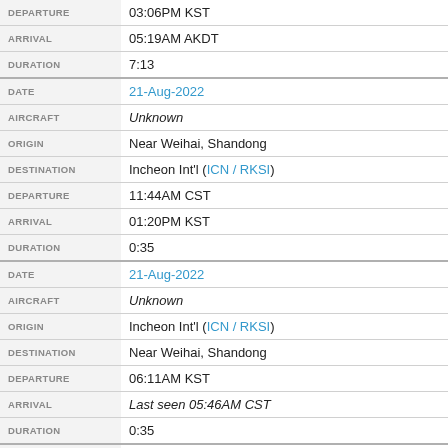| Field | Value |
| --- | --- |
| DEPARTURE | 03:06PM KST |
| ARRIVAL | 05:19AM AKDT |
| DURATION | 7:13 |
| DATE | 21-Aug-2022 |
| AIRCRAFT | Unknown |
| ORIGIN | Near Weihai, Shandong |
| DESTINATION | Incheon Int'l (ICN / RKSI) |
| DEPARTURE | 11:44AM CST |
| ARRIVAL | 01:20PM KST |
| DURATION | 0:35 |
| DATE | 21-Aug-2022 |
| AIRCRAFT | Unknown |
| ORIGIN | Incheon Int'l (ICN / RKSI) |
| DESTINATION | Near Weihai, Shandong |
| DEPARTURE | 06:11AM KST |
| ARRIVAL | Last seen 05:46AM CST |
| DURATION | 0:35 |
| DATE | 20-Aug-2022 |
| AIRCRAFT | B748 |
| ORIGIN | Sydney (SYD / YSSY) |
| DESTINATION | Incheon Int'l (ICN / RKSI) |